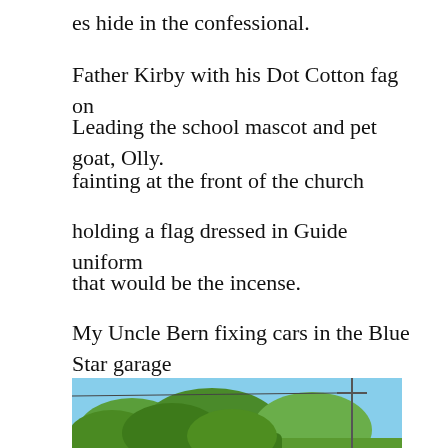es hide in the confessional.
Father Kirby with his Dot Cotton fag on
Leading the school mascot and pet goat, Olly.
fainting at the front of the church
holding a flag dressed in Guide uniform
that would be the incense.
My Uncle Bern fixing cars in the Blue Star garage
[Figure (photo): Outdoor photo showing people walking along a road beside a tall green hedge, with a blue sky and trees in the background.]
when Tesco was a twinkle in the